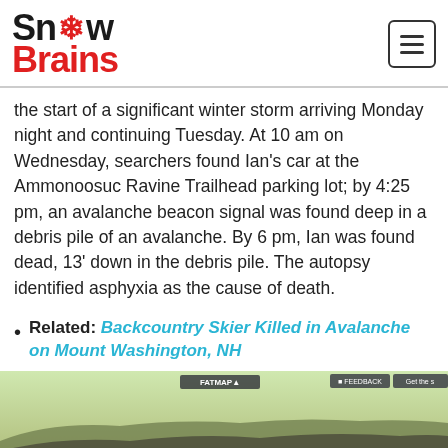Snow Brains
the start of a significant winter storm arriving Monday night and continuing Tuesday. At 10 am on Wednesday, searchers found Ian's car at the Ammonoosuc Ravine Trailhead parking lot; by 4:25 pm, an avalanche beacon signal was found deep in a debris pile of an avalanche. By 6 pm, Ian was found dead, 13' down in the debris pile. The autopsy identified asphyxia as the cause of death.
Related: Backcountry Skier Killed in Avalanche on Mount Washington, NH
[Figure (map): FATMAP 3D terrain map showing Mount Washington, NH area with trail routes marked in blue and a red location pin near the Ammonoosuc Ravine Trailhead area.]